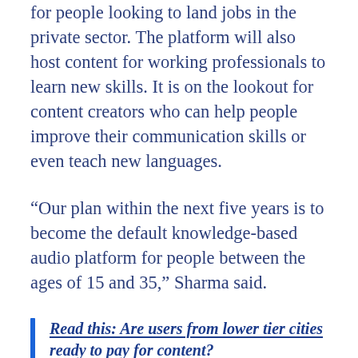for people looking to land jobs in the private sector. The platform will also host content for working professionals to learn new skills. It is on the lookout for content creators who can help people improve their communication skills or even teach new languages.
“Our plan within the next five years is to become the default knowledge-based audio platform for people between the ages of 15 and 35,” Sharma said.
Read this: Are users from lower tier cities ready to pay for content?